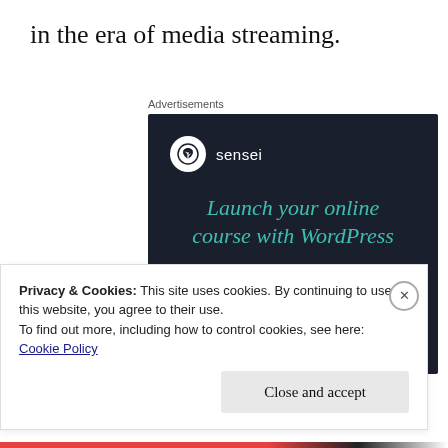in the era of media streaming.
Advertisements
[Figure (screenshot): Sensei advertisement box with dark navy background. Shows Sensei logo (tree icon in white circle) and brand name. Headline: 'Launch your online course with WordPress' in teal italic text. Green 'Learn More' pill button.]
Privacy & Cookies: This site uses cookies. By continuing to use this website, you agree to their use.
To find out more, including how to control cookies, see here:
Cookie Policy
Close and accept